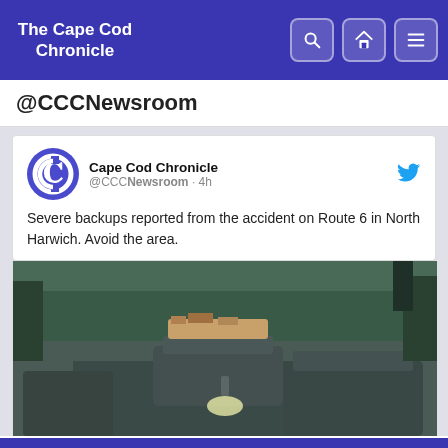The Cape Cod Chronicle
@CCCNewsroom
Cape Cod Chronicle @CCCNewsroom · 4h
Severe backups reported from the accident on Route 6 in North Harwich. Avoid the area.
[Figure (photo): Photo of cars backed up in traffic on a road, viewed from behind, surrounded by trees. Teal/green toned image.]